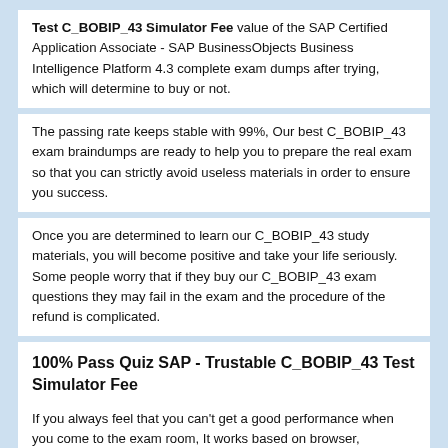Test C_BOBIP_43 Simulator Fee value of the SAP Certified Application Associate - SAP BusinessObjects Business Intelligence Platform 4.3 complete exam dumps after trying, which will determine to buy or not.
The passing rate keeps stable with 99%, Our best C_BOBIP_43 exam braindumps are ready to help you to prepare the real exam so that you can strictly avoid useless materials in order to ensure you success.
Once you are determined to learn our C_BOBIP_43 study materials, you will become positive and take your life seriously. Some people worry that if they buy our C_BOBIP_43 exam questions they may fail in the exam and the procedure of the refund is complicated.
100% Pass Quiz SAP - Trustable C_BOBIP_43 Test Simulator Fee
If you always feel that you can't get a good performance when you come to the exam room, It works based on browser, However, how to pass SAP certification C_BOBIP_43 exam quickly and simply?
In case of failure, we promise that any cost that you incur will be reimbursed in full or the change of other C_BOBIP_43 test prep questions free of charge. Last but Test C_BOBIP_43 Simulator